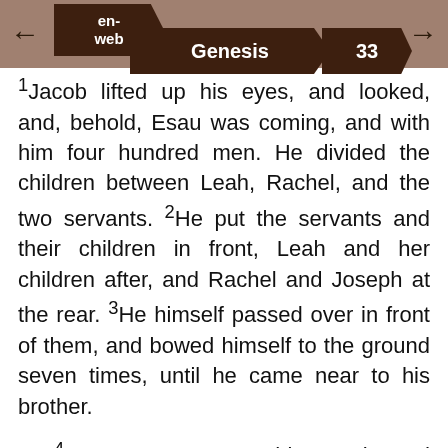en-web | Genesis 33
1Jacob lifted up his eyes, and looked, and, behold, Esau was coming, and with him four hundred men. He divided the children between Leah, Rachel, and the two servants. 2He put the servants and their children in front, Leah and her children after, and Rachel and Joseph at the rear. 3He himself passed over in front of them, and bowed himself to the ground seven times, until he came near to his brother.
4Esau ran to meet him, embraced him, fell on his neck, kissed him, and they wept. 5He lifted up his eyes, and saw the women and the children; and said, “Who are these with you?” He said, “The children whom God has